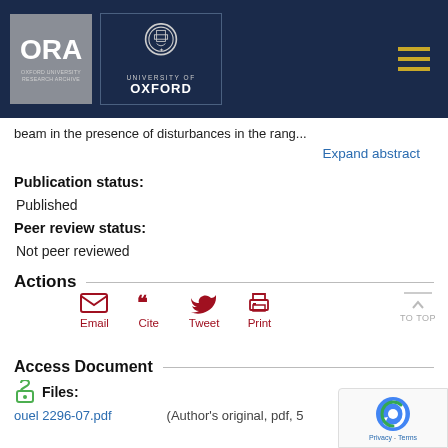ORA Oxford University Research Archive | University of Oxford
beam in the presence of disturbances in the rang...
Expand abstract
Publication status:
Published
Peer review status:
Not peer reviewed
Actions
Email  Cite  Tweet  Print
Access Document
Files:
ouel 2296-07.pdf  (Author's original, pdf, 5